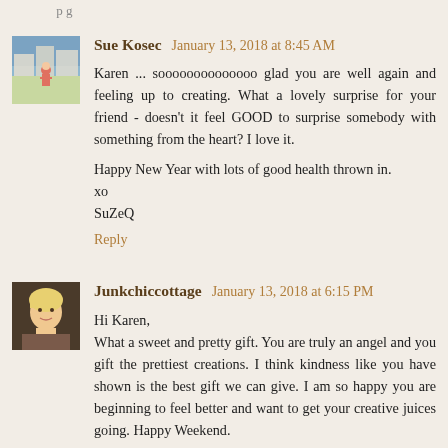...
Sue Kosec  January 13, 2018 at 8:45 AM
Karen ... soooooooooooooo glad you are well again and feeling up to creating. What a lovely surprise for your friend - doesn't it feel GOOD to surprise somebody with something from the heart? I love it.

Happy New Year with lots of good health thrown in.
xo
SuZeQ

Reply
Junkchiccottage  January 13, 2018 at 6:15 PM
Hi Karen,
What a sweet and pretty gift. You are truly an angel and you gift the prettiest creations. I think kindness like you have shown is the best gift we can give. I am so happy you are beginning to feel better and want to get your creative juices going. Happy Weekend.